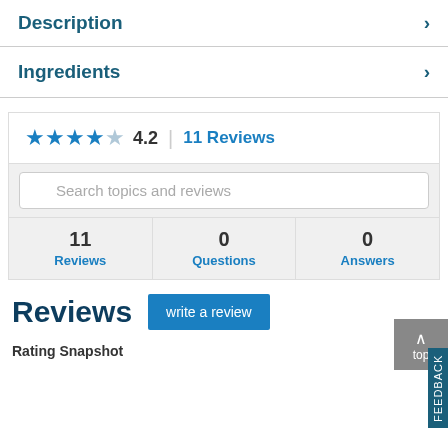Description
Ingredients
★★★★☆ 4.2 | 11 Reviews
Search topics and reviews
|  |  |  |
| --- | --- | --- |
| 11
Reviews | 0
Questions | 0
Answers |
Reviews
write a review
top
FEEDBACK
Rating Snapshot